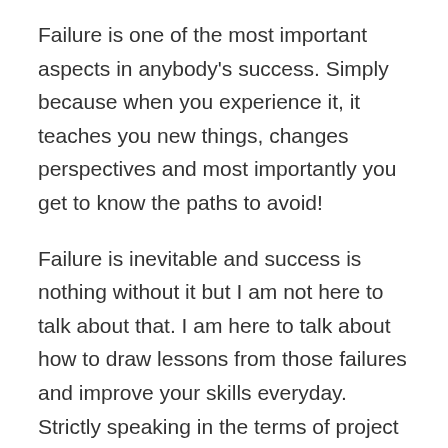Failure is one of the most important aspects in anybody's success. Simply because when you experience it, it teaches you new things, changes perspectives and most importantly you get to know the paths to avoid!
Failure is inevitable and success is nothing without it but I am not here to talk about that. I am here to talk about how to draw lessons from those failures and improve your skills everyday. Strictly speaking in the terms of project management, planning and execution are the real lessons for a successful project.
With modern project management trends settling in and the convenience of project management tools, here are three things every project manager should focus on in